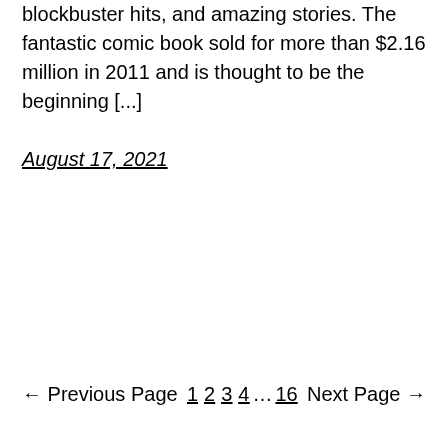blockbuster hits, and amazing stories. The fantastic comic book sold for more than $2.16 million in 2011 and is thought to be the beginning [...]
August 17, 2021
← Previous Page   1 2 3 4 … 16   Next Page →